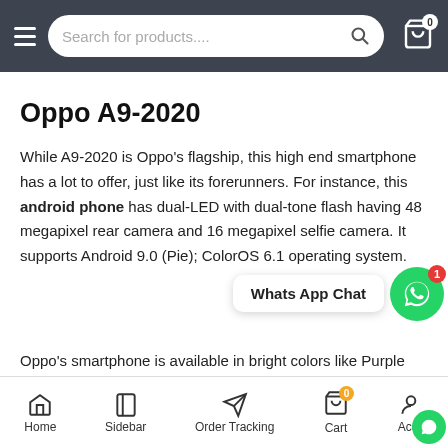Search for products....
Oppo A9-2020
While A9-2020 is Oppo's flagship, this high end smartphone has a lot to offer, just like its forerunners. For instance, this android phone has dual-LED with dual-tone flash having 48 megapixel rear camera and 16 megapixel selfie camera. It supports Android 9.0 (Pie); ColorOS 6.1 operating system.
[Figure (screenshot): WhatsApp Chat button with green circle icon and badge count of 1]
Oppo's smartphone is available in bright colors like Purple and Green. It includes stereo speakers and active noise cancellation with dedicated mic. The phone has 8GB RAM and 128GB built-in storage with a MicroSD which supports up to 256GB. This Opps's
Home   Sidebar   Order Tracking   Cart   Account